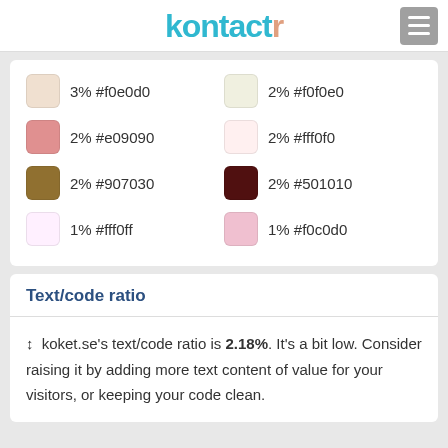kontactr
3% #f0e0d0
2% #f0f0e0
2% #e09090
2% #fff0f0
2% #907030
2% #501010
1% #fff0ff
1% #f0c0d0
Text/code ratio
↕ koket.se's text/code ratio is 2.18%. It's a bit low. Consider raising it by adding more text content of value for your visitors, or keeping your code clean.